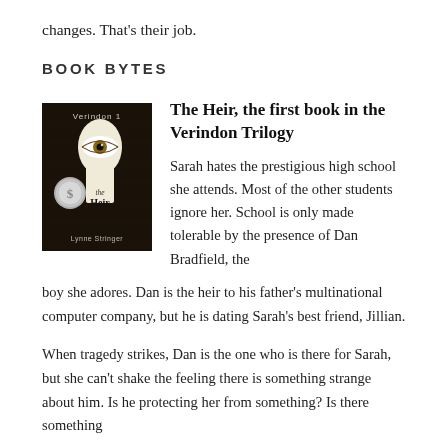changes. That's their job.
BOOK BYTES
[Figure (illustration): Book cover of 'The Heir' by Lynne Stringer, Verindon 1. Dark background with a keyhole shape revealing an eye, with a silver medallion/badge on the left side.]
The Heir, the first book in the Verindon Trilogy
Sarah hates the prestigious high school she attends. Most of the other students ignore her. School is only made tolerable by the presence of Dan Bradfield, the boy she adores. Dan is the heir to his father's multinational computer company, but he is dating Sarah's best friend, Jillian.
When tragedy strikes, Dan is the one who is there for Sarah, but she can't shake the feeling there is something strange about him. Is he protecting her from something? Is there something